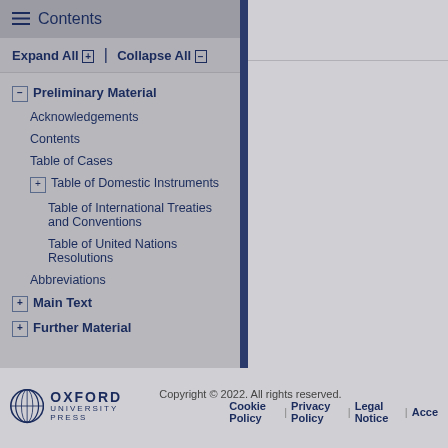Contents
Expand All [+] | Collapse All [-]
[-] Preliminary Material
Acknowledgements
Contents
Table of Cases
[+] Table of Domestic Instruments
Table of International Treaties and Conventions
Table of United Nations Resolutions
Abbreviations
[+] Main Text
[+] Further Material
Sign up for alerts
Copyright © 2022. All rights reserved. Cookie Policy | Privacy Policy | Legal Notice | Acce...